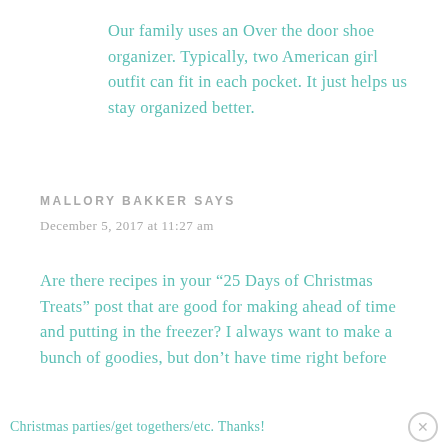Our family uses an Over the door shoe organizer. Typically, two American girl outfit can fit in each pocket. It just helps us stay organized better.
MALLORY BAKKER SAYS
December 5, 2017 at 11:27 am
Are there recipes in your “25 Days of Christmas Treats” post that are good for making ahead of time and putting in the freezer? I always want to make a bunch of goodies, but don’t have time right before Christmas parties/get togethers/etc. Thanks!